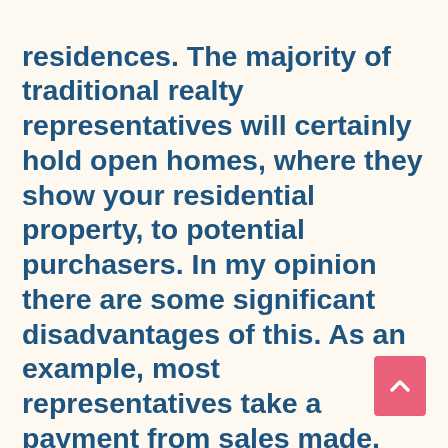residences. The majority of traditional realty representatives will certainly hold open homes, where they show your residential property, to potential purchasers. In my opinion there are some significant disadvantages of this. As an example, most representatives take a payment from sales made, regardless of whether the offer goes through or otherwise. Open up houses typically attract just those house owners who have enough cash to purchase purchasing a house, which is why they are held at bothersome times, such as late